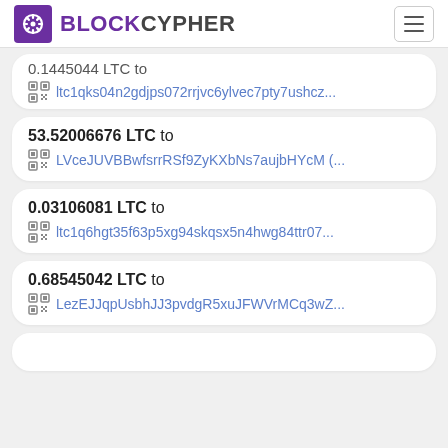BLOCKCYPHER
0.1445044 LTC to ltc1qks04n2gdjps072rrjvc6ylvec7pty7ushcz...
53.52006676 LTC to LVceJUVBBwfsrrRSf9ZyKXbNs7aujbHYcM (...
0.03106081 LTC to ltc1q6hgt35f63p5xg94skqsx5n4hwg84ttr07...
0.68545042 LTC to LezEJJqpUsbhJJ3pvdgR5xuJFWVrMCq3wZ...